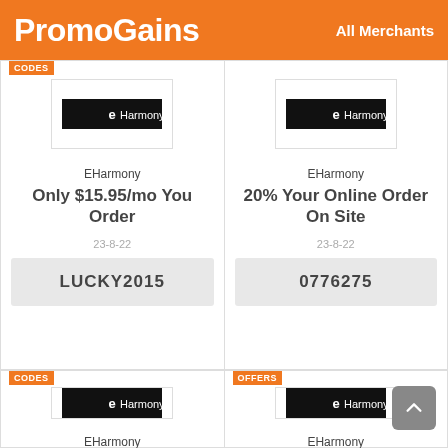PromoGains   All Merchants
EHarmony
Only $15.95/mo You Order
23-8-22
LUCKY2015
EHarmony
20% Your Online Order On Site
23-8-22
0776275
EHarmony
EHarmony Gift Memberships - £9.95/month As Much
EHarmony
Meet Singles In Manchester At EHarmony